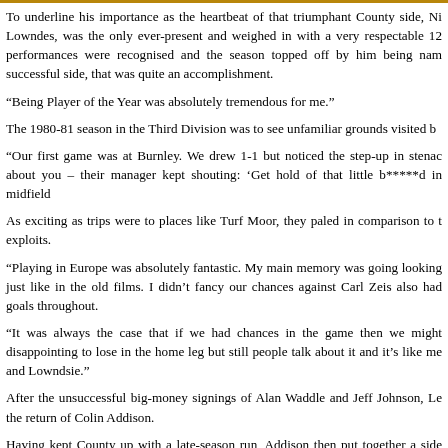To underline his importance as the heartbeat of that triumphant County side, Ni Lowndes, was the only ever-present and weighed in with a very respectable 12 performances were recognised and the season topped off by him being nam successful side, that was quite an accomplishment.
“Being Player of the Year was absolutely tremendous for me.”
The 1980-81 season in the Third Division was to see unfamiliar grounds visited b
“Our first game was at Burnley. We drew 1-1 but noticed the step-up in stenac about you – their manager kept shouting: ‘Get hold of that little b*****d in midfield
As exciting as trips were to places like Turf Moor, they paled in comparison to t exploits.
“Playing in Europe was absolutely fantastic. My main memory was going looking just like in the old films. I didn’t fancy our chances against Carl Zeis also had goals throughout.
“It was always the case that if we had chances in the game then we might disappointing to lose in the home leg but still people talk about it and it’s like me and Lowndsie.”
After the unsuccessful big-money signings of Alan Waddle and Jeff Johnson, Le the return of Colin Addison.
Having kept County up with a late-season run, Addison then put together a side only to blow certain promotion to the Second Division.
After success at Cardiff and Wolves and ten Welsh caps, Nigel found himself ba 129 appearances saw Nigel have a brief stint as caretaker manager before the ill
“I was at Worcester but things weren’t going well and ‘Relo’ phoned. It was gr lads I knew like ‘Lowndsie’ – it felt like coming home. I really enjoyed my secon disappointed didn’t get the right but I was on the assists of the played